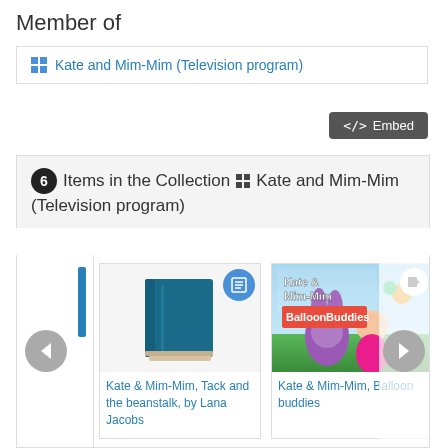Member of
Kate and Mim-Mim (Television program)
</> Embed
6 Items in the Collection Kate and Mim-Mim (Television program)
[Figure (illustration): Book icon (dark blue book with blue document badge)]
Kate & Mim-Mim, Tack and the beanstalk, by Lana Jacobs
[Figure (photo): Kate & Mim-Mim Balloon Buddies DVD cover art showing characters]
Kate & Mim-Mim, Balloon buddies